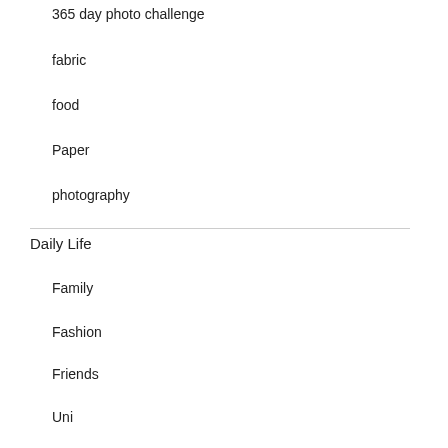365 day photo challenge
fabric
food
Paper
photography
Daily Life
Family
Fashion
Friends
Uni
Work
Entertainment